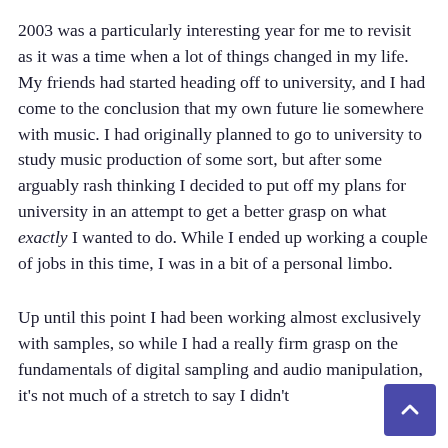2003 was a particularly interesting year for me to revisit as it was a time when a lot of things changed in my life. My friends had started heading off to university, and I had come to the conclusion that my own future lie somewhere with music. I had originally planned to go to university to study music production of some sort, but after some arguably rash thinking I decided to put off my plans for university in an attempt to get a better grasp on what exactly I wanted to do. While I ended up working a couple of jobs in this time, I was in a bit of a personal limbo.
Up until this point I had been working almost exclusively with samples, so while I had a really firm grasp on the fundamentals of digital sampling and audio manipulation, it's not much of a stretch to say I didn't